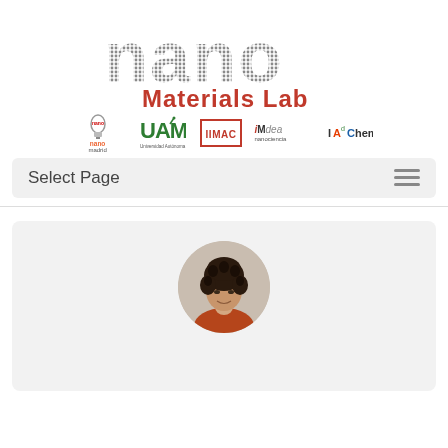[Figure (logo): NanoMaterials Lab logo with large 'nano' text in gray dotted/metallic style and 'Materials Lab' in red bold below]
[Figure (logo): Row of partner institution logos: nano madrid, UAM, IIMAC, iMdea nanociencia, IAdChem]
Select Page
[Figure (photo): Circular profile photo of a woman with short curly dark hair wearing a red top]